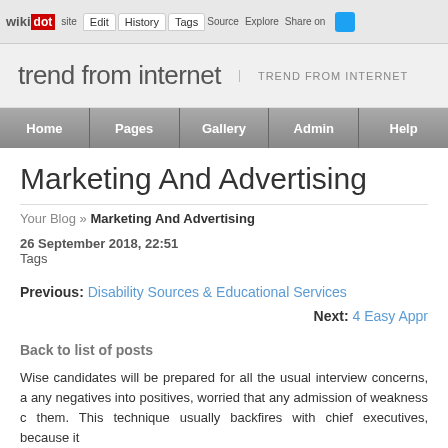wiki dot | site | Edit | History | Tags | Source | Explore | Share on [twitter]
trend from internet | TREND FROM INTERNET
Home | Pages | Gallery | Admin | Help
Marketing And Advertising
Your Blog » Marketing And Advertising
26 September 2018, 22:51
Tags
Previous: Disability Sources & Educational Services
Next: 4 Easy Appr
Back to list of posts
Wise candidates will be prepared for all the usual interview concerns, any negatives into positives, worried that any admission of weakness c them. This technique usually backfires with chief executives, because it